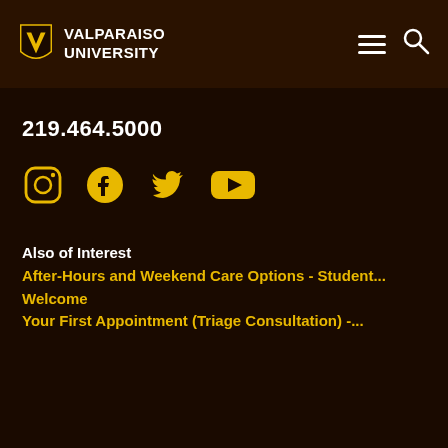VALPARAISO UNIVERSITY
219.464.5000
[Figure (other): Social media icons: Instagram, Facebook, Twitter, YouTube in gold color]
Also of Interest
After-Hours and Weekend Care Options - Student...
Welcome
Your First Appointment (Triage Consultation) -...